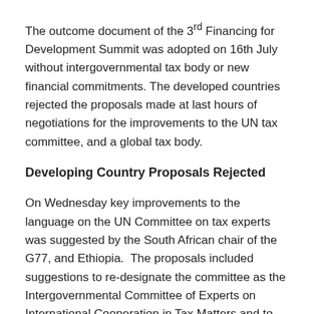The outcome document of the 3rd Financing for Development Summit was adopted on 16th July without intergovernmental tax body or new financial commitments. The developed countries rejected the proposals made at last hours of negotiations for the improvements to the UN tax committee, and a global tax body.
Developing Country Proposals Rejected
On Wednesday key improvements to the language on the UN Committee on tax experts was suggested by the South African chair of the G77, and Ethiopia. The proposals included suggestions to re-designate the committee as the Intergovernmental Committee of Experts on International Cooperation in Tax Matters and to increase the resources allocated.